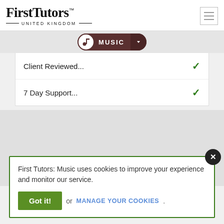[Figure (logo): First Tutors United Kingdom logo with serif font and horizontal lines]
[Figure (other): Hamburger menu button (three horizontal lines) in top right corner]
[Figure (other): Music navigation pill button with music note icon, MUSIC label, and dropdown arrow]
| Feature | Status |
| --- | --- |
| Client Reviewed... | ✓ |
| 7 Day Support... | ✓ |
First Tutors: Music uses cookies to improve your experience and monitor our service.
Got it! or MANAGE YOUR COOKIES.